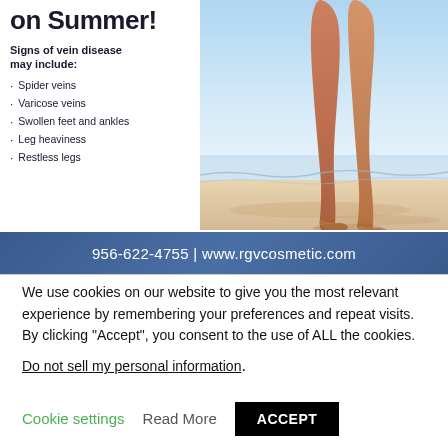on Summer!
Signs of vein disease may include:
Spider veins
Varicose veins
Swollen feet and ankles
Leg heaviness
Restless legs
[Figure (photo): Person walking on a beach, legs visible from knees down, sandy beach and blue sky background]
956-622-4755 | www.rgvcosmetic.com
We use cookies on our website to give you the most relevant experience by remembering your preferences and repeat visits. By clicking “Accept”, you consent to the use of ALL the cookies.
Do not sell my personal information.
Cookie settings  Read More  ACCEPT